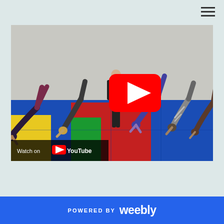[Figure (screenshot): Navigation bar with hamburger menu icon in top right corner on a light teal/mint background]
[Figure (screenshot): YouTube video thumbnail showing a group of people doing yoga/gymnastics on colorful mats in a studio. People are bent over in forward fold positions. A large red YouTube play button is visible in the center-right area. A 'Watch on YouTube' bar appears at the bottom left of the video.]
POWERED BY weebly